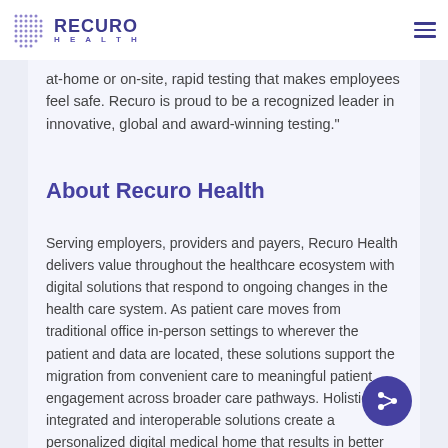RECURO HEALTH
at-home or on-site, rapid testing that makes employees feel safe. Recuro is proud to be a recognized leader in innovative, global and award-winning testing."
About Recuro Health
Serving employers, providers and payers, Recuro Health delivers value throughout the healthcare ecosystem with digital solutions that respond to ongoing changes in the health care system. As patient care moves from traditional office in-person settings to wherever the patient and data are located, these solutions support the migration from convenient care to meaningful patient engagement across broader care pathways. Holistic, integrated and interoperable solutions create a personalized digital medical home that results in better outcomes and lower costs. www.recurohealth.com